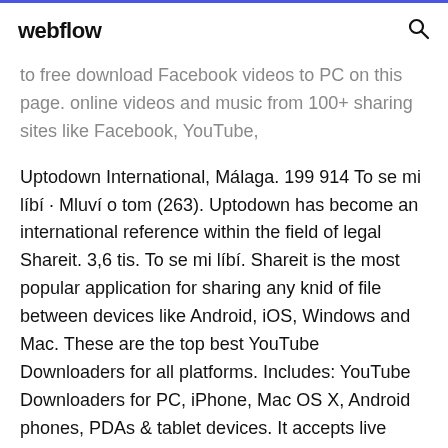webflow
to free download Facebook videos to PC on this page. online videos and music from 100+ sharing sites like Facebook, YouTube,
Uptodown International, Málaga. 199 914 To se mi líbí · Mluví o tom (263). Uptodown has become an international reference within the field of legal Shareit. 3,6 tis. To se mi líbí. Shareit is the most popular application for sharing any knid of file between devices like Android, iOS, Windows and Mac. These are the top best YouTube Downloaders for all platforms. Includes: YouTube Downloaders for PC, iPhone, Mac OS X, Android phones, PDAs & tablet devices. It accepts live video from